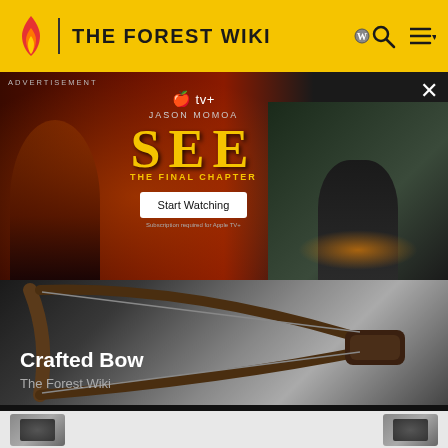THE FOREST WIKI
[Figure (screenshot): Advertisement banner for Apple TV+ show 'SEE: The Final Chapter' featuring Jason Momoa, with 'Start Watching' button and close X button]
[Figure (photo): Crafted Bow from The Forest Wiki game - a curved wooden bow with a string]
Crafted Bow
The Forest Wiki
[Figure (photo): Partially visible image strip at bottom showing another item]